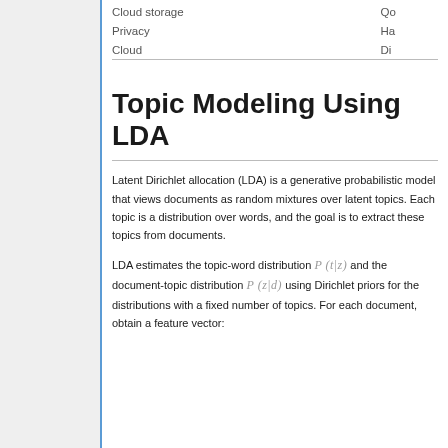|  |  |
| --- | --- |
| Cloud storage | Qo |
| Privacy | Ha |
| Cloud | Di |
Topic Modeling Using LDA
Latent Dirichlet allocation (LDA) is a generative probabilistic model that views documents as random mixtures over latent topics. Each topic is a distribution over words, and the goal is to extract these topics from documents.
LDA estimates the topic-word distribution P(t|z) and the document-topic distribution P(z|d) using Dirichlet priors for the distributions with a fixed number of topics. For each document, obtain a feature vector: